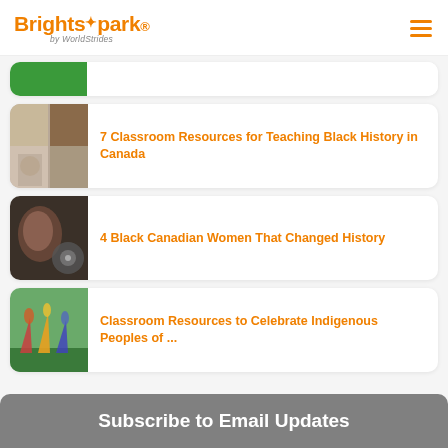Brightspark by WorldStrides
[Figure (screenshot): Partial article card with green button thumbnail]
7 Classroom Resources for Teaching Black History in Canada
4 Black Canadian Women That Changed History
Classroom Resources to Celebrate Indigenous Peoples of ...
Subscribe to Email Updates